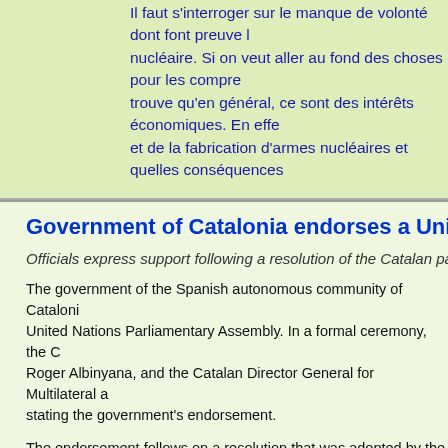Il faut s'interroger sur le manque de volonté dont font preuve les nucléaire. Si on veut aller au fond des choses pour les compre... trouve qu'en général, ce sont des intérêts économiques. En effe... et de la fabrication d'armes nucléaires et quelles conséquences...
Government of Catalonia endorses a United Nations Parl...
Officials express support following a resolution of the Catalan parlia...
The government of the Spanish autonomous community of Cataloni... United Nations Parliamentary Assembly. In a formal ceremony, the C... Roger Albinyana, and the Catalan Director General for Multilateral a... stating the government's endorsement.
The endorsement follows on a resolution that was adopted by the Ca... called on the government of the autonomous community to support t... Assembly at the EU level and in the framework of the government's...
The ceremony in Barcelona on February 3rd was attended by the car... hope to bring the topic to the state level and convince the Spanish go... Mr. Simon commented.
The international appeal for a UN Parliamentary Assembly so far ha... of parliament from over 100 countries, among others. In a resolutio...